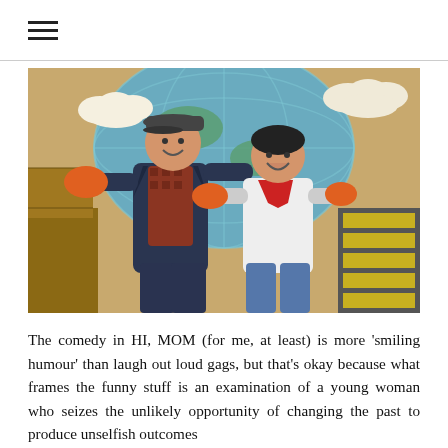≡
[Figure (photo): Two performers on a theatrical stage set with a globe backdrop and cloud decorations. A man wearing a flat cap and blazer over a patterned shirt holds out large orange foam hands/gloves. A woman in a white top with a red neckerchief stands beside him laughing, also with orange gloves. The background features a colorful stage set.]
The comedy in HI, MOM (for me, at least) is more 'smiling humour' than laugh out loud gags, but that's okay because what frames the funny stuff is an examination of a young woman who seizes the unlikely opportunity of changing the past to produce unselfish outcomes